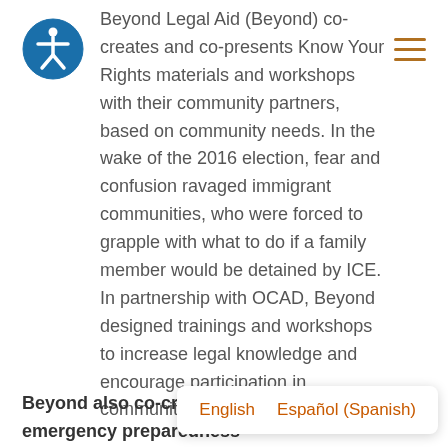[Accessibility icon] [Hamburger menu]
Beyond Legal Aid (Beyond) co-creates and co-presents Know Your Rights materials and workshops with their community partners, based on community needs. In the wake of the 2016 election, fear and confusion ravaged immigrant communities, who were forced to grapple with what to do if a family member would be detained by ICE. In partnership with OCAD, Beyond designed trainings and workshops to increase legal knowledge and encourage participation in community-driven campaigns.
Beyond also co-creates emergency preparedness
English  Español (Spanish)